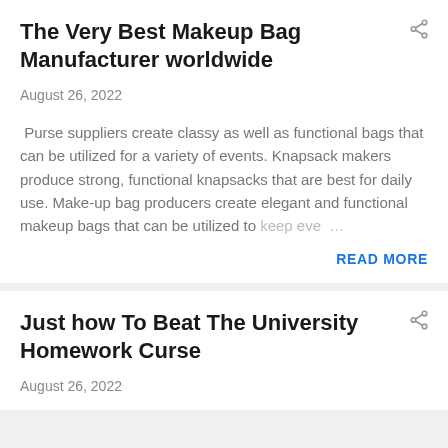The Very Best Makeup Bag Manufacturer worldwide
August 26, 2022
Purse suppliers create classy as well as functional bags that can be utilized for a variety of events. Knapsack makers produce strong, functional knapsacks that are best for daily use. Make-up bag producers create elegant and functional makeup bags that can be utilized to keep eve…
READ MORE
Just how To Beat The University Homework Curse
August 26, 2022